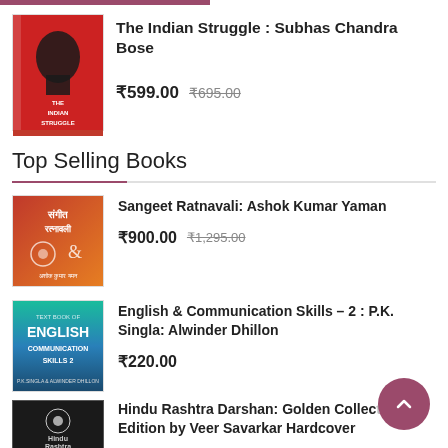[Figure (photo): Book cover of The Indian Struggle by Subhas Chandra Bose, red cover with portrait silhouette]
The Indian Struggle : Subhas Chandra Bose
₹599.00 ₹695.00
Top Selling Books
[Figure (photo): Book cover of Sangeet Ratnavali by Ashok Kumar Yaman, red/orange cover with Hindi text]
Sangeet Ratnavali: Ashok Kumar Yaman
₹900.00 ₹1,295.00
[Figure (photo): Book cover of English & Communication Skills - 2 by P.K. Singla and Alwinder Dhillon, blue cover]
English & Communication Skills – 2 : P.K. Singla: Alwinder Dhillon
₹220.00
[Figure (photo): Book cover of Hindu Rashtra Darshan Golden Collection Edition by Veer Savarkar, dark/black cover]
Hindu Rashtra Darshan: Golden Collection Edition by Veer Savarkar Hardcover